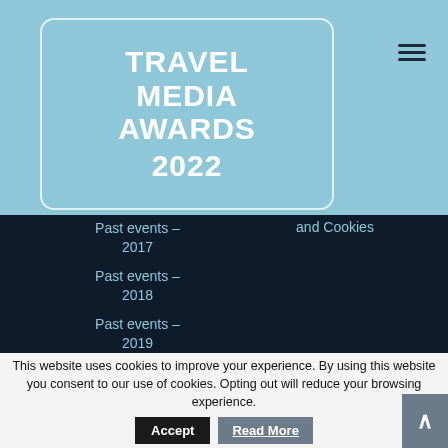[Figure (logo): Travel Media Awards 2022 logo with text inside a rounded rectangle on a light blue background, with a hamburger menu icon top right]
Past events – 2017
Past events – 2018
Past events – 2019
and Cookies
This website uses cookies to improve your experience. By using this website you consent to our use of cookies. Opting out will reduce your browsing experience.
Accept
Read More